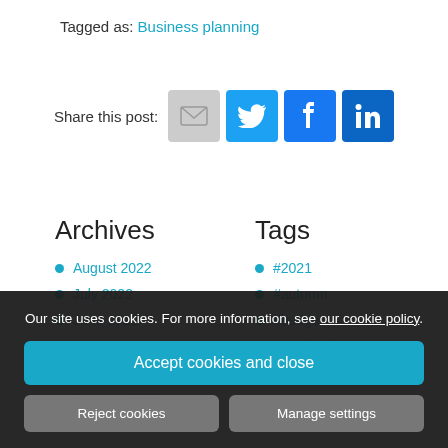Tagged as: Business planning
[Figure (infographic): Share this post row with email, Twitter, Facebook, and LinkedIn icons]
Archives
August 2022
July 2022
June 2022
May 2022
April 2022
January 2022
January 2022
December
November
October 2021
September
August
July 2021
Tags
#2021
#autumn
#budget
#Dividends
#Employees
Our site uses cookies. For more information, see our cookie policy.
Accept cookies and close
Reject cookies
Manage settings